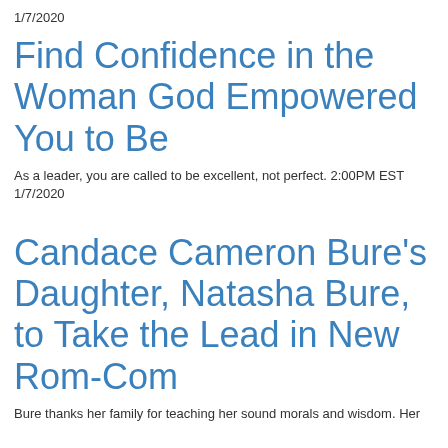1/7/2020
Find Confidence in the Woman God Empowered You to Be
As a leader, you are called to be excellent, not perfect. 2:00PM EST 1/7/2020
Candace Cameron Bure's Daughter, Natasha Bure, to Take the Lead in New Rom-Com
Bure thanks her family for teaching her sound morals and wisdom. Her